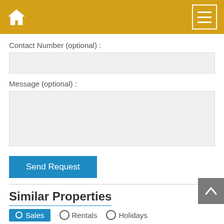Home | Menu
Contact Number (optional) :
Message (optional) :
Send Request
Similar Properties
View more 2 bedroom Apartments for Sale in La Sella
Sales | Rentals | Holidays